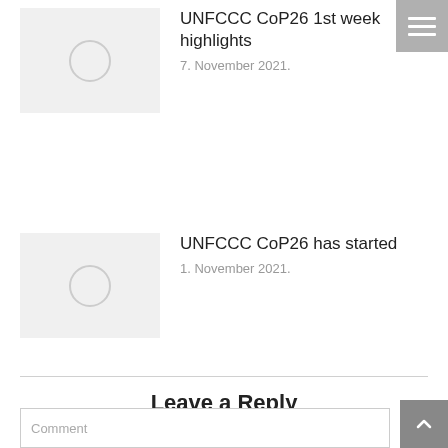[Figure (screenshot): Thumbnail placeholder image with circle icon for UNFCCC CoP26 1st week highlights article]
UNFCCC CoP26 1st week highlights
7. November 2021.
[Figure (screenshot): Thumbnail placeholder image with circle icon for UNFCCC CoP26 has started article]
UNFCCC CoP26 has started
1. November 2021.
Leave a Reply
Your email address will not be published. Required fields are marked *
Comment